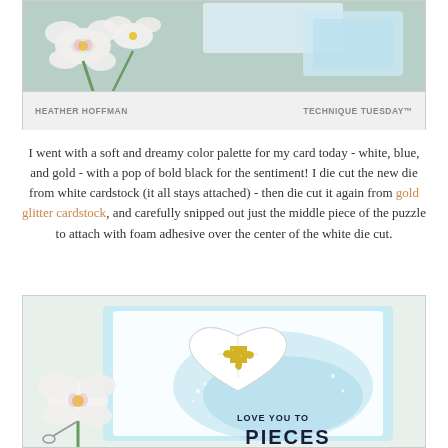[Figure (photo): Top photo showing white orchid flowers with a card/craft project; bottom bar shows author name HEATHER HOFFMAN and brand TECHNIQUE TUESDAY™]
I went with a soft and dreamy color palette for my card today - white, blue, and gold - with a pop of bold black for the sentiment! I die cut the new die from white cardstock (it all stays attached) - then die cut it again from gold glitter cardstock, and carefully snipped out just the middle piece of the puzzle to attach with foam adhesive over the center of the white die cut.
[Figure (photo): Photo of a handmade card featuring a white heart shape with a gold glitter puzzle piece in the center, on a light blue background with orchid flowers. Text reads LOVE YOU TO PIECES.]